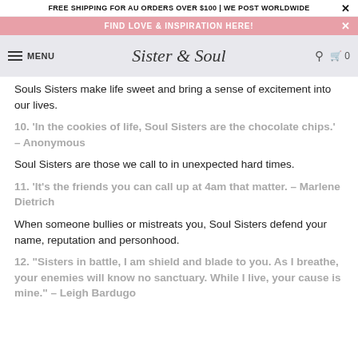FREE SHIPPING FOR AU ORDERS OVER $100 | WE POST WORLDWIDE
FIND LOVE & INSPIRATION HERE!
Sister & Soul  MENU  0
Souls Sisters make life sweet and bring a sense of excitement into our lives.
10. ‘In the cookies of life, Soul Sisters are the chocolate chips.’ – Anonymous
Soul Sisters are those we call to in unexpected hard times.
11. ‘It’s the friends you can call up at 4am that matter. – Marlene Dietrich
When someone bullies or mistreats you, Soul Sisters defend your name, reputation and personhood.
12. “Sisters in battle, I am shield and blade to you. As I breathe, your enemies will know no sanctuary. While I live, your cause is mine.” – Leigh Bardugo